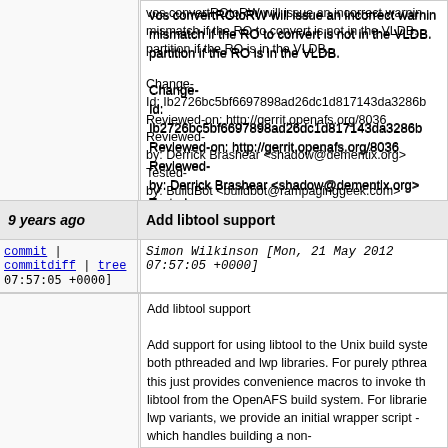vos convertROtoRW will issue an incorrect warning mismatch if the RO to convert is not in the VLDB. partition if the RO is in the VLDB.

Change-Id: Ib2726bc5bf6697898ad26dc1d817143da3286b
Reviewed-on: http://gerrit.openafs.org/8036
Reviewed-by: Derrick Brashear <shadow@dementix.org>
Tested-by: BuildBot <buildbot@rampaginggeek.com>
9 years ago
Add libtool support
commit | commitdiff | tree
07:57:05 +0000]
Simon Wilkinson [Mon, 21 May 2012 07:57:05 +0000]
Add libtool support

Add support for using libtool to the Unix build system, for both pthreaded and lwp libraries. For purely pthreaded libraries, this just provides convenience macros to invoke the system libtool from the OpenAFS build system. For libraries with lwp variants, we provide an initial wrapper script - which handles building a non-PIC LWP object before asking libtool to build the pthread variants.

For a given source example a, example a in the r...